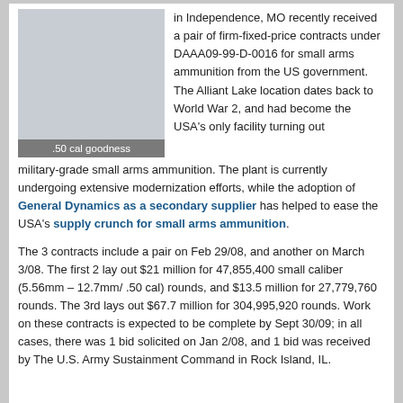[Figure (photo): Gray placeholder image representing .50 cal ammunition]
.50 cal goodness
in Independence, MO recently received a pair of firm-fixed-price contracts under DAAA09-99-D-0016 for small arms ammunition from the US government. The Alliant Lake location dates back to World War 2, and had become the USA's only facility turning out military-grade small arms ammunition. The plant is currently undergoing extensive modernization efforts, while the adoption of General Dynamics as a secondary supplier has helped to ease the USA's supply crunch for small arms ammunition.
The 3 contracts include a pair on Feb 29/08, and another on March 3/08. The first 2 lay out $21 million for 47,855,400 small caliber (5.56mm – 12.7mm/ .50 cal) rounds, and $13.5 million for 27,779,760 rounds. The 3rd lays out $67.7 million for 304,995,920 rounds. Work on these contracts is expected to be complete by Sept 30/09; in all cases, there was 1 bid solicited on Jan 2/08, and 1 bid was received by The U.S. Army Sustainment Command in Rock Island, IL.